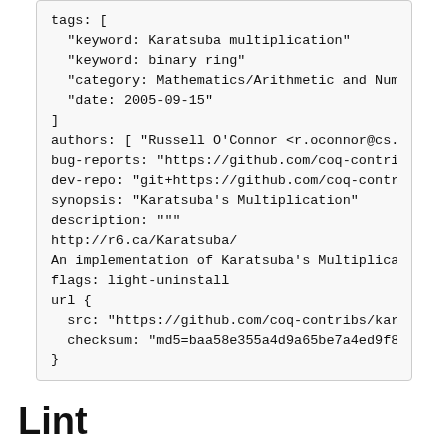tags: [
  "keyword: Karatsuba multiplication"
  "keyword: binary ring"
  "category: Mathematics/Arithmetic and Numbe
  "date: 2005-09-15"
]
authors: [ "Russell O'Connor <r.oconnor@cs.ru
bug-reports: "https://github.com/coq-contribs
dev-repo: "git+https://github.com/coq-contrib
synopsis: "Karatsuba's Multiplication"
description: """
http://r6.ca/Karatsuba/
An implementation of Karatsuba's Multiplicati
flags: light-uninstall
url {
  src: "https://github.com/coq-contribs/karat
  checksum: "md5=baa58e355a4d9a65be7a4ed9f8e1
}
Lint